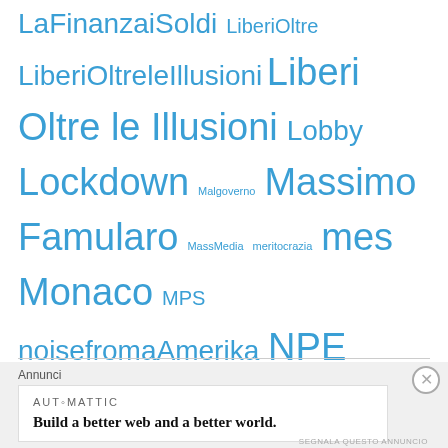LaFinanzaiSoldi LiberiOltre LiberiOltreleIllusioni Liberi Oltre le Illusioni Lobby Lockdown Malgoverno Massimo Famularo MassMedia meritocrazia mes Monaco MPS noisefromaAmerika NPE NPL Pandemia PD politica pressione fiscale Ragazzi Real Estate Renzi risparmio Roboadvisor Sassoli Soldi Spesa Pubblica Trump UTP
Annunci
AUTOMATTIC
Build a better web and a better world.